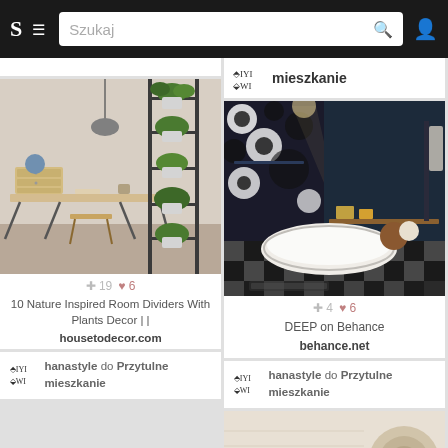S  ≡  Szukaj 🔍  👤
mieszkanie
[Figure (photo): Interior photo of a workspace/home office with a plant shelf divider made of black metal frames with multiple potted green plants, wooden desk with trestle legs, wooden drawer unit, industrial pendant lamp.]
+ 19  ♥ 6
10 Nature Inspired Room Dividers With Plants Decor | |
housetodecor.com
hanastyle do Przytulne mieszkanie
[Figure (photo): Dark luxury bathroom photo with dark navy walls, freestanding oval white bathtub, black and white patterned floor tiles, decorative items, and ceiling spotlights.]
+ 4  ♥ 6
DEEP on Behance
behance.net
hanastyle do Przytulne mieszkanie
[Figure (photo): Partial view of a light-colored interior, possibly textiles or woven decor items.]